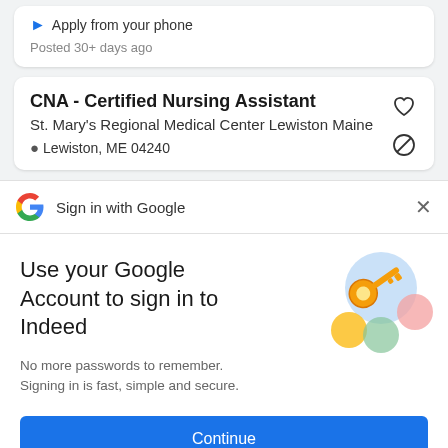Apply from your phone
Posted 30+ days ago
CNA - Certified Nursing Assistant
St. Mary's Regional Medical Center Lewiston Maine
Lewiston, ME 04240
Sign in with Google
Use your Google Account to sign in to Indeed
No more passwords to remember. Signing in is fast, simple and secure.
[Figure (illustration): Colorful Google key illustration with circles and a golden key]
Continue
DINA NAMIE ACT EMILY S